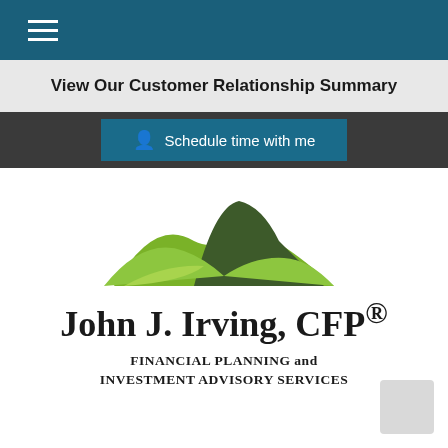View Our Customer Relationship Summary
Schedule time with me
[Figure (logo): John J. Irving CFP mountain landscape logo with green hills and dark peak, company name 'John J. Irving, CFP®' and subtitle 'FINANCIAL PLANNING and INVESTMENT ADVISORY SERVICES']